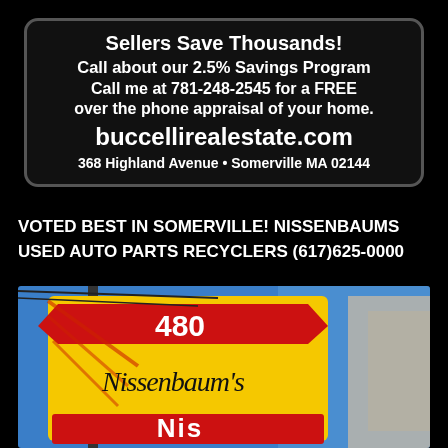[Figure (photo): Advertisement for Buccelli Real Estate on black background with rounded rectangle border. Text: 'Sellers Save Thousands! Call about our 2.5% Savings Program. Call me at 781-248-2545 for a FREE over the phone appraisal of your home. buccellirealestate.com. 368 Highland Avenue • Somerville MA 02144']
VOTED BEST IN SOMERVILLE! NISSENBAUMS USED AUTO PARTS RECYCLERS (617)625-0000
[Figure (photo): Photo of Nissenbaum's Used Auto Parts sign - yellow sign with red accents showing '480 Nissenbaum's' against a blue sky background.]